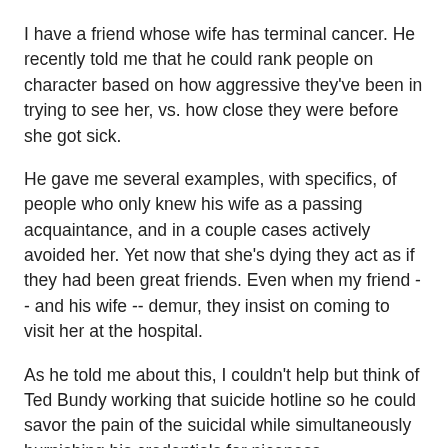I have a friend whose wife has terminal cancer. He recently told me that he could rank people on character based on how aggressive they've been in trying to see her, vs. how close they were before she got sick.
He gave me several examples, with specifics, of people who only knew his wife as a passing acquaintance, and in a couple cases actively avoided her. Yet now that she's dying they act as if they had been great friends. Even when my friend -- and his wife -- demur, they insist on coming to visit her at the hospital.
As he told me about this, I couldn't help but think of Ted Bundy working that suicide hotline so he could savor the pain of the suicidal while simultaneously burnishing his credentials for niceness.
Obviously none of the people my friend described are serial killers. But some of them may, at a certain level, be savoring her pain in a ghoulish way -- whether or not they're even aware that that's what they're doing.